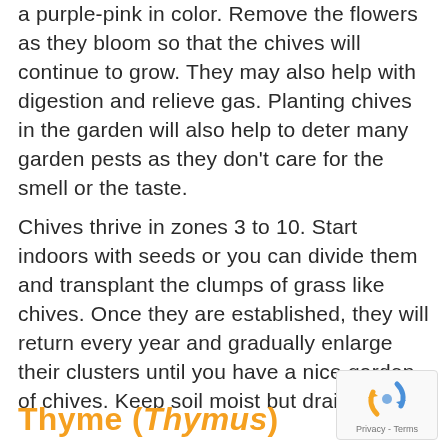a purple-pink in color. Remove the flowers as they bloom so that the chives will continue to grow. They may also help with digestion and relieve gas. Planting chives in the garden will also help to deter many garden pests as they don't care for the smell or the taste.
Chives thrive in zones 3 to 10. Start indoors with seeds or you can divide them and transplant the clumps of grass like chives. Once they are established, they will return every year and gradually enlarge their clusters until you have a nice garden of chives. Keep soil moist but drained.
Thyme (Thymus)
[Figure (other): reCAPTCHA logo with Privacy - Terms text below]